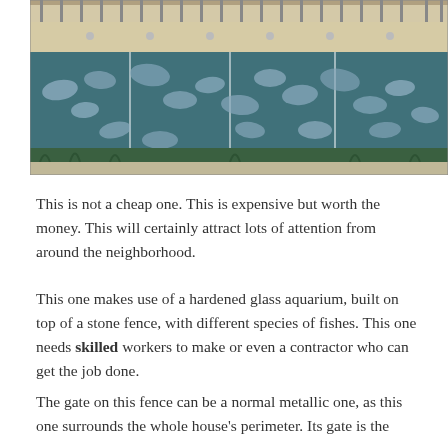[Figure (photo): Large aquarium built on top of a stone fence structure, filled with numerous fish of various species, with glass panels and a building structure visible above.]
This is not a cheap one. This is expensive but worth the money. This will certainly attract lots of attention from around the neighborhood.
This one makes use of a hardened glass aquarium, built on top of a stone fence, with different species of fishes. This one needs skilled workers to make or even a contractor who can get the job done.
The gate on this fence can be a normal metallic one, as this one surrounds the whole house's perimeter. Its gate is the main entry of the house...